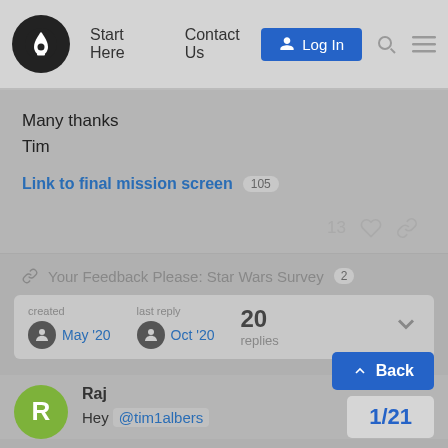Start Here | Contact Us | Log In
Many thanks
Tim
Link to final mission screen 105
13 ♡ 🔗
🔗 Your Feedback Please: Star Wars Survey 2
| created | last reply | replies |
| --- | --- | --- |
| May '20 | Oct '20 | 20 |
Raj
Hey @tim1albers
1/21